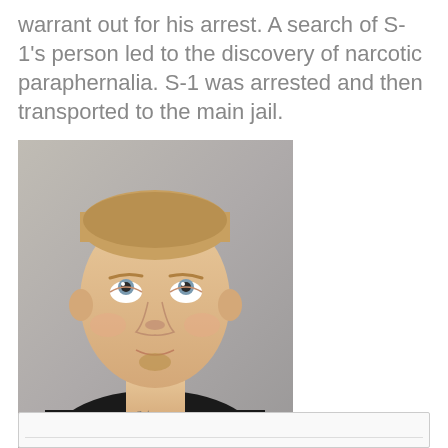warrant out for his arrest. A search of S-1's person led to the discovery of narcotic paraphernalia. S-1 was arrested and then transported to the main jail.
[Figure (photo): Mugshot photo of a white male with short blond hair, a small goatee, and a tattoo on his neck, wearing a black shirt, looking upward, against a gray background.]